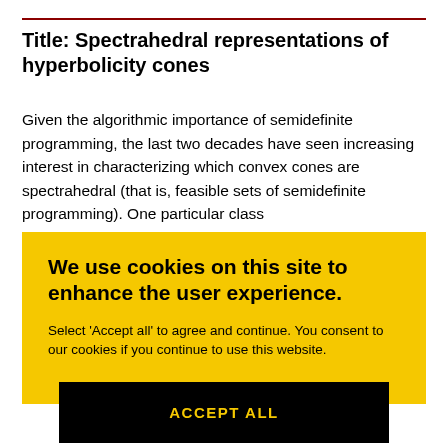Title: Spectrahedral representations of hyperbolicity cones
Given the algorithmic importance of semidefinite programming, the last two decades have seen increasing interest in characterizing which convex cones are spectrahedral (that is, feasible sets of semidefinite programming). One particular class
[Figure (other): Cookie consent overlay with yellow background. Contains heading 'We use cookies on this site to enhance the user experience.' and body text 'Select \'Accept all\' to agree and continue. You consent to our cookies if you continue to use this website.' with a black button labeled 'ACCEPT ALL'.]
...